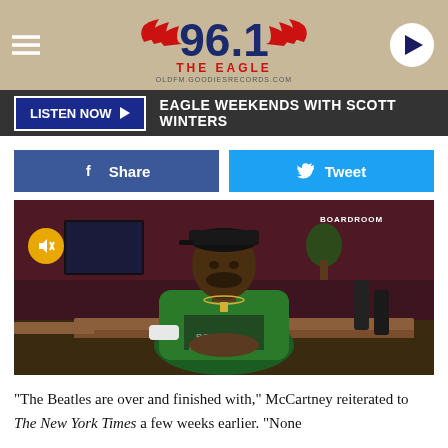[Figure (logo): 96.1 The Eagle radio station logo with wings and header banner including hamburger menu and play button]
LISTEN NOW ▶  EAGLE WEEKENDS WITH SCOTT WINTERS
f  Share
🐦  Tweet
[Figure (photo): Man wearing green Bob Marley t-shirt and black cap sitting in a bar/lounge setting. BOARDROOM watermark visible in top right corner. Yellow mute button overlay in top left.]
"The Beatles are over and finished with," McCartney reiterated to The New York Times a few weeks earlier. "None